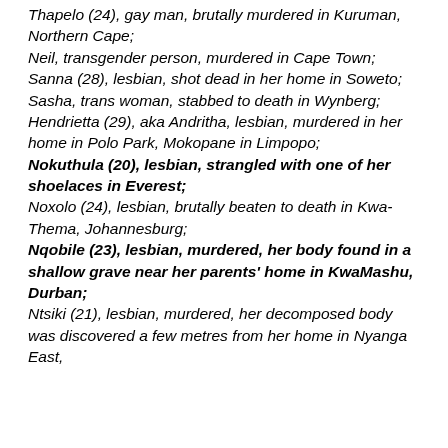Thapelo (24), gay man, brutally murdered in Kuruman, Northern Cape;
Neil, transgender person, murdered in Cape Town;
Sanna (28), lesbian, shot dead in her home in Soweto;
Sasha, trans woman, stabbed to death in Wynberg;
Hendrietta (29), aka Andritha, lesbian, murdered in her home in Polo Park, Mokopane in Limpopo;
Nokuthula (20), lesbian, strangled with one of her shoelaces in Everest;
Noxolo (24), lesbian, brutally beaten to death in Kwa-Thema, Johannesburg;
Nqobile (23), lesbian, murdered, her body found in a shallow grave near her parents' home in KwaMashu, Durban;
Ntsiki (21), lesbian, murdered, her decomposed body was discovered a few metres from her home in Nyanga East,